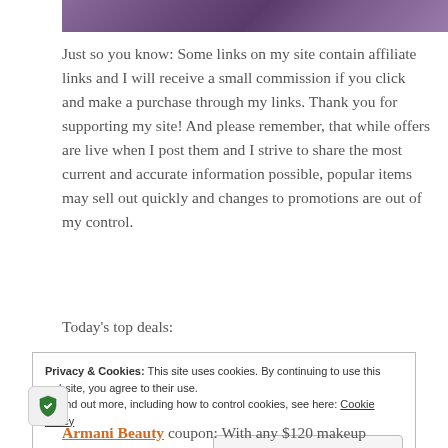[Figure (photo): Partial top portion of an image showing a purple/mauve colored object on a gray textured background]
Just so you know: Some links on my site contain affiliate links and I will receive a small commission if you click and make a purchase through my links. Thank you for supporting my site! And please remember, that while offers are live when I post them and I strive to share the most current and accurate information possible, popular items may sell out quickly and changes to promotions are out of my control.
Today's top deals:
Privacy & Cookies: This site uses cookies. By continuing to use this website, you agree to their use.
To find out more, including how to control cookies, see here: Cookie Policy
Close and accept
Armani Beauty coupon: With any $120 makeup